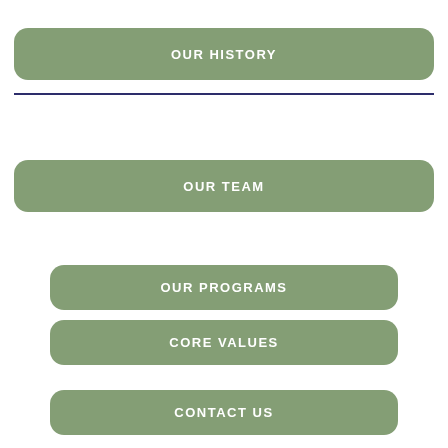OUR HISTORY
OUR TEAM
OUR PROGRAMS
CORE VALUES
CONTACT US